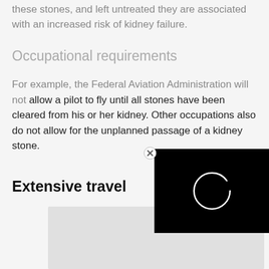these stones, and left untreated they are associated with an increased risk of kidney failure.
Occupational requirements
For example, the Federal Aviation Administration will not allow a pilot to fly until all stones have been cleared from his or her kidney. Other occupations also do not allow for the unplanned passage of a kidney stone.
Extensive travel
[Figure (screenshot): Black video player overlay with a white circle loading spinner and a close button (X in circle) in the top right corner]
[Figure (other): Gray placeholder box below Extensive travel section]